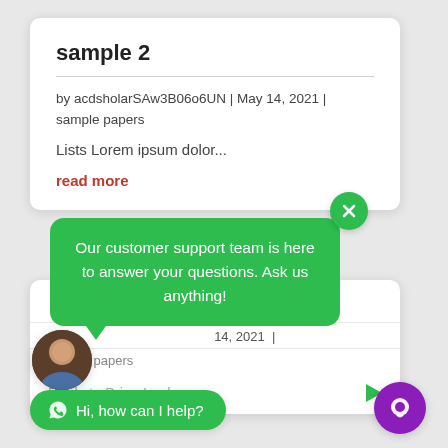sample 2
by acdsholarSAw3B06o6UN | May 14, 2021 | sample papers
Lists Lorem ipsum dolor...
read more
[Figure (screenshot): Green speech bubble chat widget saying 'Our customer support team is here to answer your questions. Ask us anything!']
[Figure (screenshot): Chat widget with avatar, greeting 'Hi, how can I help?', date '14, 2021 |', 'sample papers', and 'Reply to Brian Leakey.' input with send arrow]
Hi, how can I help?
Hi, how can I help?